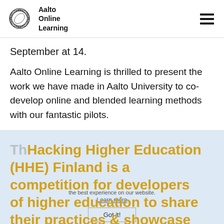Aalto Online Learning
September at 14.
Aalto Online Learning is thrilled to present the work we have made in Aalto University to co-develop online and blended learning methods with our fantastic pilots.
Hacking Higher Education (HHE) Finland is a competition for developers of higher education to share their practices & showcase